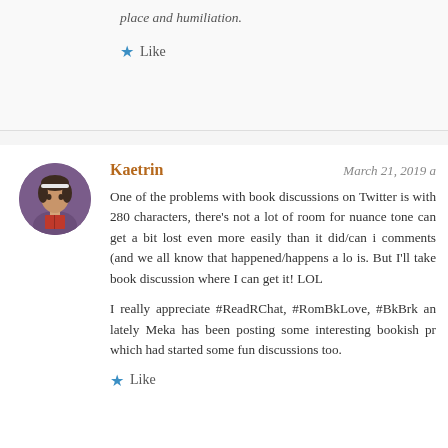place and humiliation.
Like
Kaetrin
March 21, 2019
One of the problems with book discussions on Twitter is with 280 characters, there's not a lot of room for nuance tone can get a bit lost even more easily than it did/can in comments (and we all know that happened/happens a lot) is. But I'll take book discussion where I can get it! LOL
I really appreciate #ReadRChat, #RomBkLove, #BkBrk and lately Meka has been posting some interesting bookish prompts which had started some fun discussions too.
Like